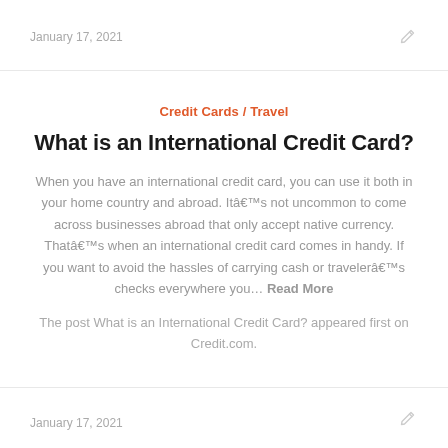January 17, 2021
Credit Cards / Travel
What is an International Credit Card?
When you have an international credit card, you can use it both in your home country and abroad. Itâs not uncommon to come across businesses abroad that only accept native currency. Thatâs when an international credit card comes in handy. If you want to avoid the hassles of carrying cash or travelerâs checks everywhere you… Read More
The post What is an International Credit Card? appeared first on Credit.com.
January 17, 2021